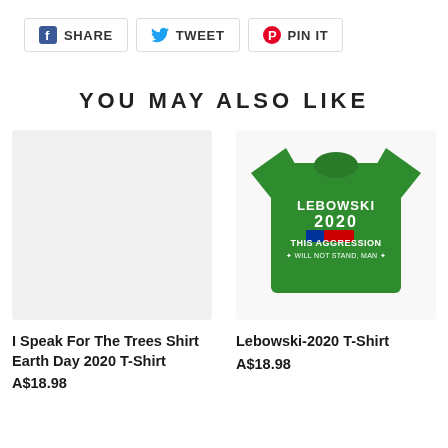[Figure (infographic): Social share buttons: Facebook SHARE, Twitter TWEET, Pinterest PIN IT]
YOU MAY ALSO LIKE
[Figure (photo): Blank/empty product image placeholder for I Speak For The Trees Shirt Earth Day 2020 T-Shirt]
I Speak For The Trees Shirt Earth Day 2020 T-Shirt
A$18.98
[Figure (photo): Green t-shirt with Lebowski 2020 This Aggression Will Not Stand Man text and red/blue graphic]
Lebowski-2020 T-Shirt
A$18.98